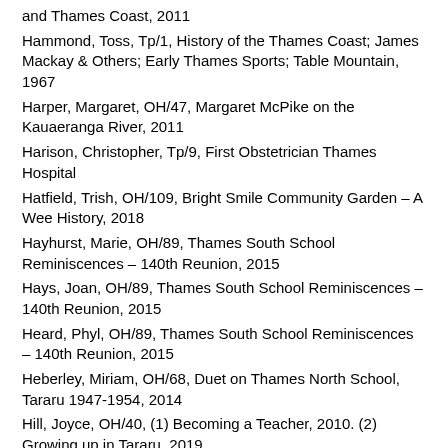and Thames Coast, 2011
Hammond, Toss, Tp/1, History of the Thames Coast; James Mackay & Others; Early Thames Sports; Table Mountain, 1967
Harper, Margaret, OH/47, Margaret McPike on the Kauaeranga River, 2011
Harison, Christopher, Tp/9, First Obstetrician Thames Hospital
Hatfield, Trish, OH/109, Bright Smile Community Garden – A Wee History, 2018
Hayhurst, Marie, OH/89, Thames South School Reminiscences – 140th Reunion, 2015
Hays, Joan, OH/89, Thames South School Reminiscences – 140th Reunion, 2015
Heard, Phyl, OH/89, Thames South School Reminiscences – 140th Reunion, 2015
Heberley, Miriam, OH/68, Duet on Thames North School, Tararu 1947-1954, 2014
Hill, Joyce, OH/40, (1) Becoming a Teacher, 2010. (2) Growing up in Tararu, 2019
Horrath, Henry, OH/89, Thames South School...